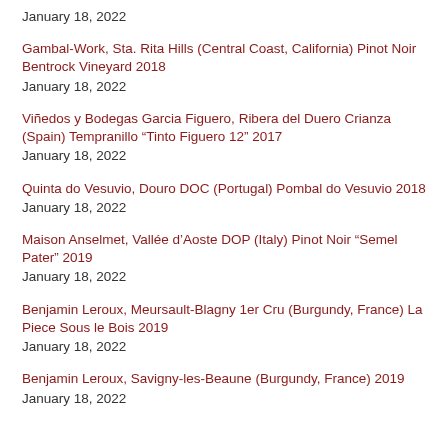January 18, 2022
Gambal-Work, Sta. Rita Hills (Central Coast, California) Pinot Noir Bentrock Vineyard 2018
January 18, 2022
Viñedos y Bodegas Garcia Figuero, Ribera del Duero Crianza (Spain) Tempranillo “Tinto Figuero 12” 2017
January 18, 2022
Quinta do Vesuvio, Douro DOC (Portugal) Pombal do Vesuvio 2018
January 18, 2022
Maison Anselmet, Vallée d’Aoste DOP (Italy) Pinot Noir “Semel Pater” 2019
January 18, 2022
Benjamin Leroux, Meursault-Blagny 1er Cru (Burgundy, France) La Piece Sous le Bois 2019
January 18, 2022
Benjamin Leroux, Savigny-les-Beaune (Burgundy, France) 2019
January 18, 2022